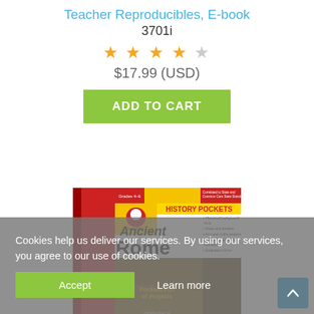Teacher Reproducibles, E-book
3701i
[Figure (other): 4.5 out of 5 star rating (4 filled stars, 1 half/empty star)]
$17.99 (USD)
ADD TO CART
[Figure (photo): Book cover for 'History Pockets: Ancient Rome' by Evan-Moor, Grades 4-6, showing the book with pockets and project items]
Cookies help us deliver our services. By using our services, you agree to our use of cookies.
Accept
Learn more